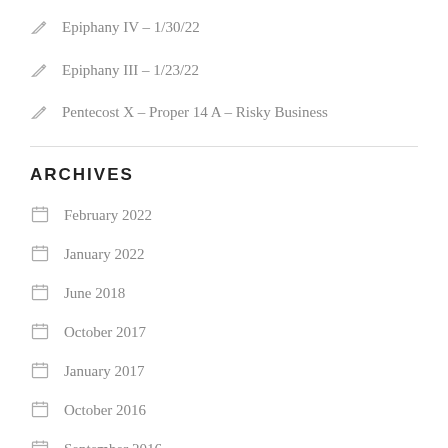Epiphany IV – 1/30/22
Epiphany III – 1/23/22
Pentecost X – Proper 14 A – Risky Business
ARCHIVES
February 2022
January 2022
June 2018
October 2017
January 2017
October 2016
September 2016